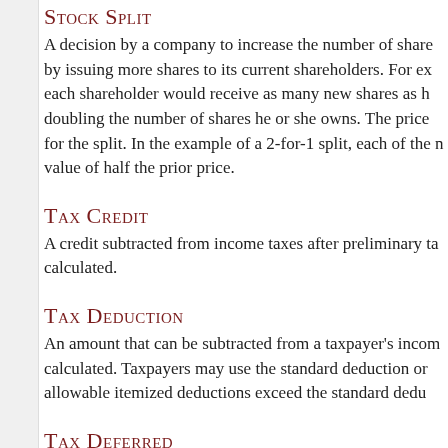Stock Split
A decision by a company to increase the number of shares by issuing more shares to its current shareholders. For example, each shareholder would receive as many new shares as he owns, doubling the number of shares he or she owns. The price adjusts for the split. In the example of a 2-for-1 split, each of the new shares has a value of half the prior price.
Tax Credit
A credit subtracted from income taxes after preliminary tax is calculated.
Tax Deduction
An amount that can be subtracted from a taxpayer's income before tax is calculated. Taxpayers may use the standard deduction or itemize if allowable itemized deductions exceed the standard deduction.
Tax Deferred
A condition of certain plans and accounts under which the earnings, along with any accrued interest, dividends, or other capital gains are not taxed until withdrawn.